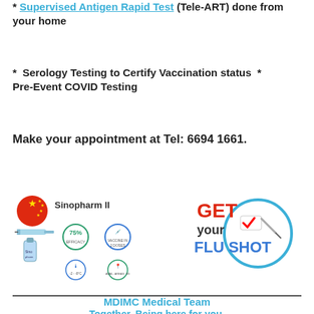* Supervised Antigen Rapid Test (Tele-ART) done from your home
* Serology Testing to Certify Vaccination status * Pre-Event COVID Testing
Make your appointment at Tel: 6694 1661.
[Figure (infographic): Sinopharm II vaccine infographic with Chinese flag icon, syringe, vial, and small icons showing 75% efficacy, vaccine in 2 doses, temperature storage -2 to -8°C, and available in multiple areas.]
[Figure (infographic): GET your FLU SHOT badge with a circular clockface icon with a checkmark and syringe.]
MDIMC Medical Team
Together, Being here for you.